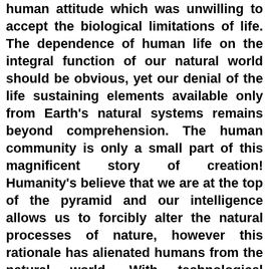human attitude which was unwilling to accept the biological limitations of life. The dependence of human life on the integral function of our natural world should be obvious, yet our denial of the life sustaining elements available only from Earth's natural systems remains beyond comprehension. The human community is only a small part of this magnificent story of creation! Humanity's believe that we are at the top of the pyramid and our intelligence allows us to forcibly alter the natural processes of nature, however this rationale has alienated humans from the natural world. With technological invention, humans believe they can surpass the limits of nature!
Planet Earth, as we know it today, has evolved over the past 4.5 billion years. Single cell life forms were introduced to the creation story